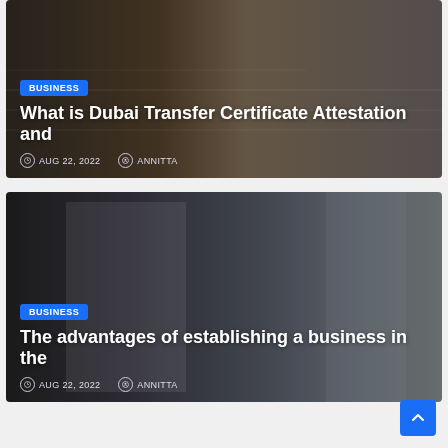[Figure (photo): Dark background photo showing hands with pen over papers — article card for Dubai Transfer Certificate Attestation]
What is Dubai Transfer Certificate Attestation and
AUG 22, 2022   ANNITTA
[Figure (photo): Office photo showing man in blue suit working on laptop with colleagues in background — article card for advantages of establishing a business]
The advantages of establishing a business in the
AUG 22, 2022   ANNITTA